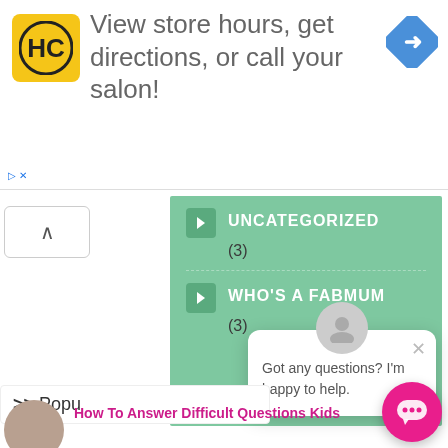[Figure (screenshot): Advertisement banner for HC salon locator: yellow logo with HC text, navigation arrow icon, text 'View store hours, get directions, or call your salon!']
UNCATEGORIZED (3)
WHO'S A FABMUM (3)
Got any questions? I'm happy to help.
>> Popu
How To Answer Difficult Questions Kids